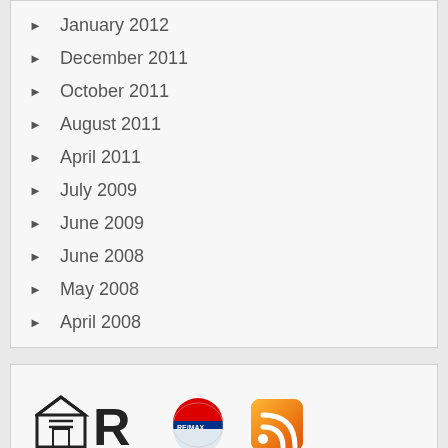January 2012
December 2011
October 2011
August 2011
April 2011
July 2009
June 2009
June 2008
May 2008
April 2008
[Figure (logo): Equal Housing Opportunity logo, RE/MAX Realtor logo, RE/MAX balloon logo, RSS feed icon]